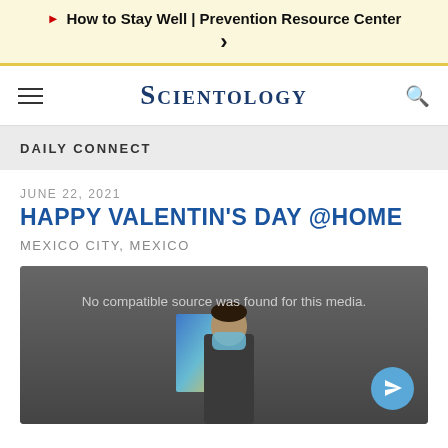▶ How to Stay Well | Prevention Resource Center >
SCIENTOLOGY
DAILY CONNECT
JUNE 22, 2021
HAPPY VALENTIN'S DAY @HOME
MEXICO CITY, MEXICO
[Figure (screenshot): Video player showing a person wearing a face mask with a colorful screen in the background. Text overlay reads 'No compatible source was found for this media.' A blue circular share/send button is visible in the lower right.]